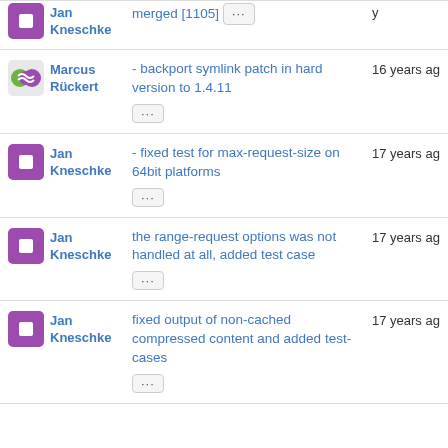Jan Kneschke - merged [1105] ... [time truncated]
Marcus Rückert - backport symlink patch in hard version to 1.4.11 ... 16 years ago
Jan Kneschke - fixed test for max-request-size on 64bit platforms ... 17 years ago
Jan Kneschke - the range-request options was not handled at all, added test case ... 17 years ago
Jan Kneschke - fixed output of non-cached compressed content and added test-cases ... 17 years ago